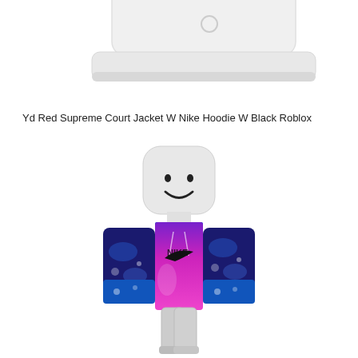[Figure (illustration): Top portion of a Roblox item render showing a white box/platform with rounded edges, partially cropped at top of page]
Yd Red Supreme Court Jacket W Nike Hoodie W Black Roblox
[Figure (illustration): Roblox character avatar wearing a purple/pink Nike hoodie with galaxy pattern on the sleeves and arms. The character has a white blocky head with a simple smiley face. The torso shows a Nike swoosh logo on a bright magenta/purple background. Arms have a dark blue galaxy/space texture.]